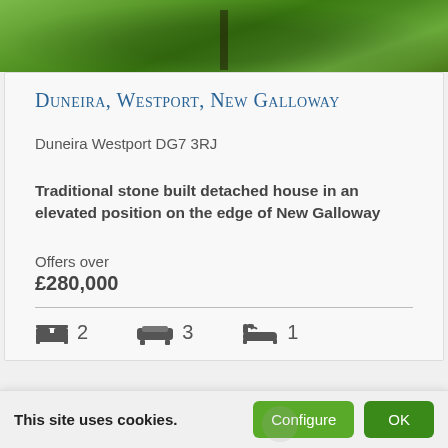[Figure (photo): Exterior garden/grounds photo of property showing green grass and trees with dappled sunlight]
Duneira, Westport, New Galloway
Duneira Westport DG7 3RJ
Traditional stone built detached house in an elevated position on the edge of New Galloway
Offers over
£280,000
2 bedrooms, 3 reception rooms, 1 bathroom
This site uses cookies.